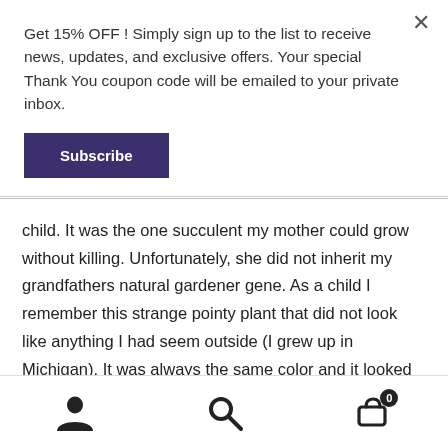Get 15% OFF ! Simply sign up to the list to receive news, updates, and exclusive offers. Your special Thank You coupon code will be emailed to your private inbox.
Subscribe
child. It was the one succulent my mother could grow without killing. Unfortunately, she did not inherit my grandfathers natural gardener gene. As a child I remember this strange pointy plant that did not look like anything I had seem outside (I grew up in Michigan). It was always the same color and it looked like it hardly grew, yet despite my mom chopping off tips every time we had a scratch, it never seemed to shrink. Beyond the sticky goo that
user icon | search icon | cart icon (0)